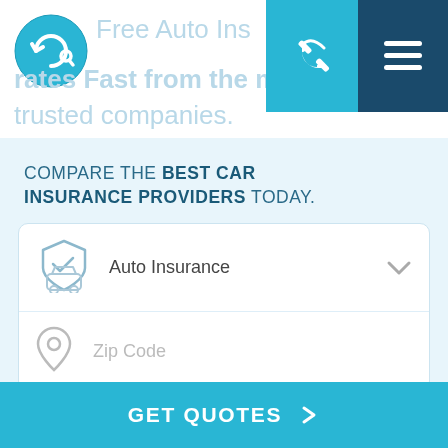[Figure (logo): Circular logo with 'iQ' symbol in white on teal/blue background]
Free Auto Insurance Rates Fast from the most trusted companies.
[Figure (other): Navigation phone icon button (teal background) and hamburger menu button (dark blue background)]
COMPARE THE BEST CAR INSURANCE PROVIDERS TODAY.
[Figure (other): Insurance form with Auto Insurance dropdown selector (shield/car icon), Zip Code input field (location pin icon), and GET QUOTES button (teal)]